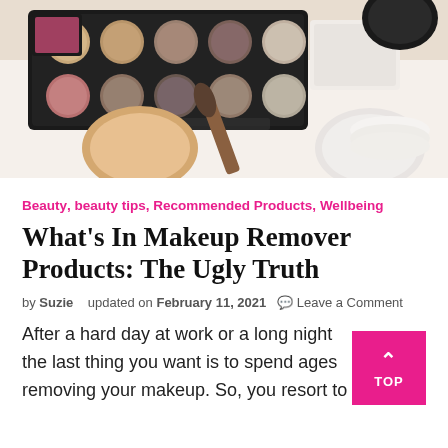[Figure (photo): Overhead view of various makeup products including eyeshadow palette, blush, powder, and brushes on a white surface.]
Beauty, beauty tips, Recommended Products, Wellbeing
What's In Makeup Remover Products: The Ugly Truth
by Suzie   updated on February 11, 2021  💬 Leave a Comment
After a hard day at work or a long night the last thing you want is to spend ages removing your makeup. So, you resort to your